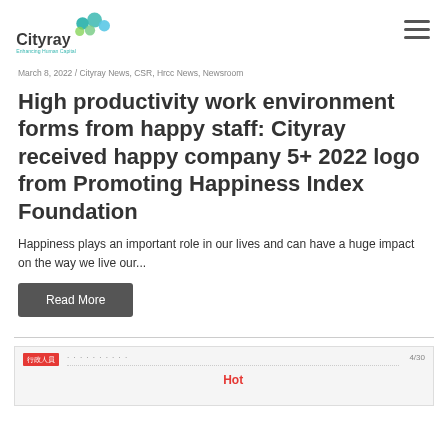Cityray — Enhancing Human Capital
March 8, 2022 / Cityray News, CSR, Hrcc News, Newsroom
High productivity work environment forms from happy staff: Cityray received happy company 5+ 2022 logo from Promoting Happiness Index Foundation
Happiness plays an important role in our lives and can have a huge impact on the way we live our...
Read More
[Figure (screenshot): Partial preview of another article with a red badge showing Chinese characters and a partially visible title]